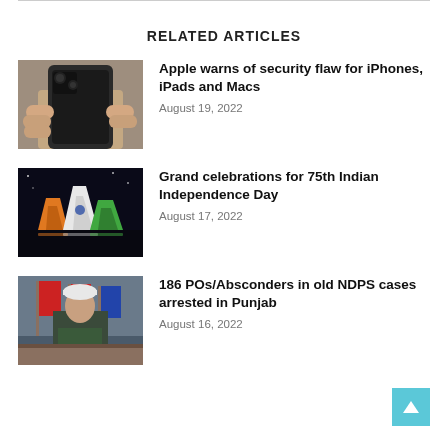RELATED ARTICLES
[Figure (photo): Person holding a smartphone with a case, photographed from below]
Apple warns of security flaw for iPhones, iPads and Macs
August 19, 2022
[Figure (photo): Sydney Opera House illuminated in orange, white and green colors for Indian Independence Day]
Grand celebrations for 75th Indian Independence Day
August 17, 2022
[Figure (photo): Official in uniform seated at a table with flags in background]
186 POs/Absconders in old NDPS cases arrested in Punjab
August 16, 2022